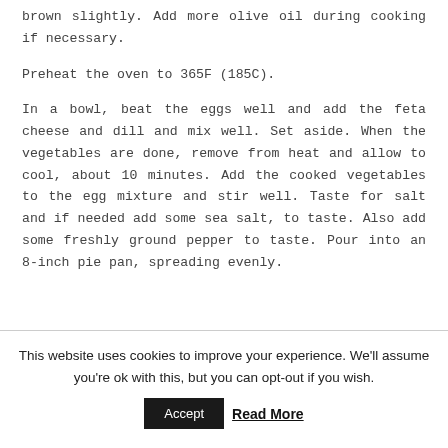brown slightly. Add more olive oil during cooking if necessary.
Preheat the oven to 365F (185C).
In a bowl, beat the eggs well and add the feta cheese and dill and mix well. Set aside. When the vegetables are done, remove from heat and allow to cool, about 10 minutes. Add the cooked vegetables to the egg mixture and stir well. Taste for salt and if needed add some sea salt, to taste. Also add some freshly ground pepper to taste. Pour into an 8-inch pie pan, spreading evenly.
This website uses cookies to improve your experience. We'll assume you're ok with this, but you can opt-out if you wish.
Accept
Read More